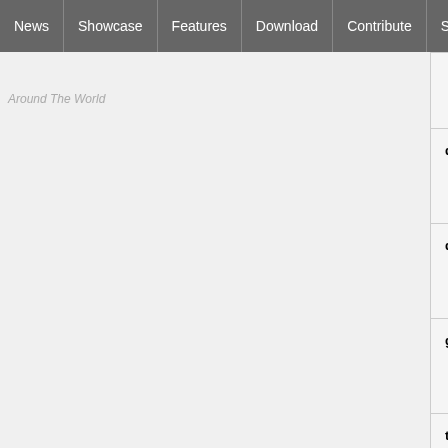News | Showcase | Features | Download | Contribute | Support
Around The World
|  |  |  |
| qs_mainTitle2 | string | titleChanged… |
| qs_subTitle | String | titleChanged… |
| genre | string | genreChang… |
| tvProgram | string | programCha… |